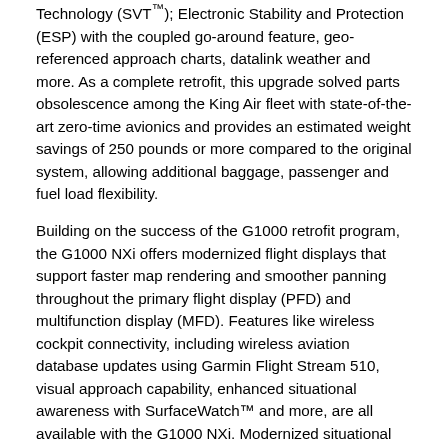Technology (SVT™); Electronic Stability and Protection (ESP) with the coupled go-around feature, geo-referenced approach charts, datalink weather and more. As a complete retrofit, this upgrade solved parts obsolescence among the King Air fleet with state-of-the-art zero-time avionics and provides an estimated weight savings of 250 pounds or more compared to the original system, allowing additional baggage, passenger and fuel load flexibility.
Building on the success of the G1000 retrofit program, the G1000 NXi offers modernized flight displays that support faster map rendering and smoother panning throughout the primary flight display (PFD) and multifunction display (MFD). Features like wireless cockpit connectivity, including wireless aviation database updates using Garmin Flight Stream 510, visual approach capability, enhanced situational awareness with SurfaceWatch™ and more, are all available with the G1000 NXi. Modernized situational awareness tools such as geographical map overlay within the HSI and visual approaches add to the G1000 NXi feature set. Additionally, King Air owners and operators with an existing G1000 integrated flight deck can upgrade to the G1000 NXi with minimal aircraft down time and disruption to the panel as